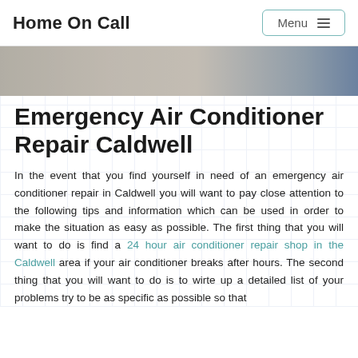Home On Call
[Figure (photo): Hero banner image showing a person working on an air conditioner unit against a brick wall, with a blue section on the right side]
Emergency Air Conditioner Repair Caldwell
In the event that you find yourself in need of an emergency air conditioner repair in Caldwell you will want to pay close attention to the following tips and information which can be used in order to make the situation as easy as possible. The first thing that you will want to do is find a 24 hour air conditioner repair shop in the Caldwell area if your air conditioner breaks after hours. The second thing that you will want to do is to wirte up a detailed list of your problems try to be as specific as possible so that